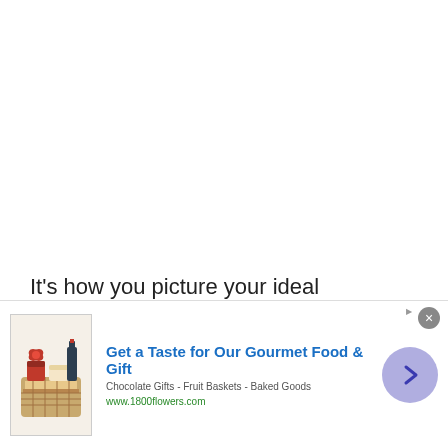It's how you picture your ideal pathway? Check this link for the detailed tutorial!
[Figure (other): Advertisement banner for 1800flowers.com showing gourmet food and gift baskets with a gift basket image on the left and a blue arrow button on the right. Title: Get a Taste for Our Gourmet Food & Gift. Subtitle: Chocolate Gifts - Fruit Baskets - Baked Goods. URL: www.1800flowers.com]